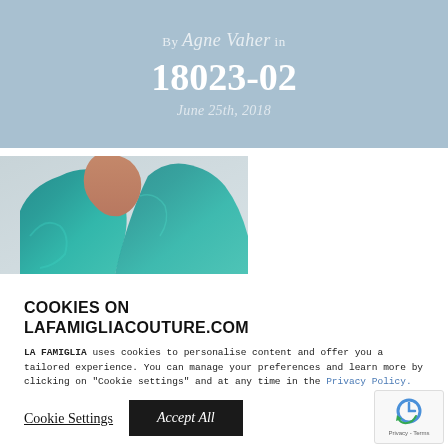By Agne Vaher in 18023-02 June 25th, 2018
[Figure (photo): Close-up photo of a person wearing a teal/turquoise velvet top, arm raised]
COOKIES ON LAFAMIGLIACOUTURE.COM
LA FAMIGLIA uses cookies to personalise content and offer you a tailored experience. You can manage your preferences and learn more by clicking on "Cookie settings" and at any time in the Privacy Policy.
Cookie Settings  Accept All